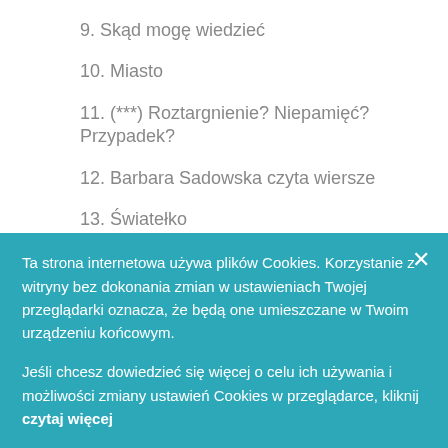9. Skąd mogę wiedzieć
10. Miasto
11. (***) Roztargnienie? Niepamięć? Przypadek?
12. Barbara Sadowska czyta wiersze
13. Światełko
14. Przekreślony początek
15. (***) W tym roku
16. Fragmenty z roku 1989
17. ...
Ta strona internetowa używa plików Cookies. Korzystanie z witryny bez dokonania zmian w ustawieniach Twojej przeglądarki oznacza, że będą one umieszczane w Twoim urządzeniu końcowym.
Jeśli chcesz dowiedzieć się więcej o celu ich używania i możliwości zmiany ustawień Cookies w przeglądarce, kliknij czytaj więcej